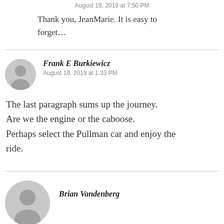August 19, 2019 at 7:50 PM
Thank you, JeanMarie. It is easy to forget…
Frank E Burkiewicz
August 19, 2019 at 1:33 PM
The last paragraph sums up the journey. Are we the engine or the caboose. Perhaps select the Pullman car and enjoy the ride.
Brian Vandenberg